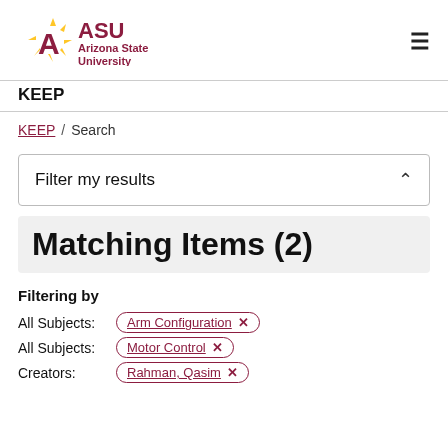[Figure (logo): Arizona State University logo with ASU text and sunburst graphic]
KEEP
KEEP / Search
Filter my results
Matching Items (2)
Filtering by
All Subjects: Arm Configuration ×
All Subjects: Motor Control ×
Creators: Rahman, Qasim ×